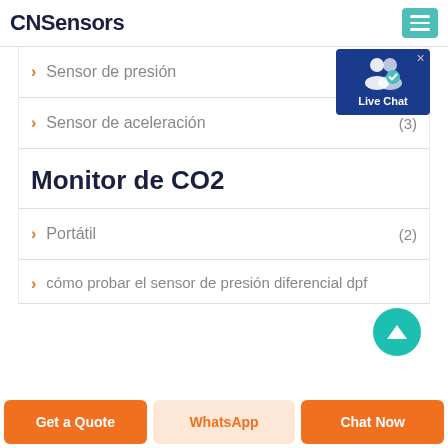CNSensors
> Sensor de presión
> Sensor de aceleración (3)
Monitor de CO2
> Portátil (2)
> cómo probar el sensor de presión diferencial dpf
[Figure (screenshot): Live Chat popup widget with blue background and user icon with checkmark badge]
[Figure (other): Teal circular scroll-to-top button at bottom right]
Get a Quote | WhatsApp | Chat Now